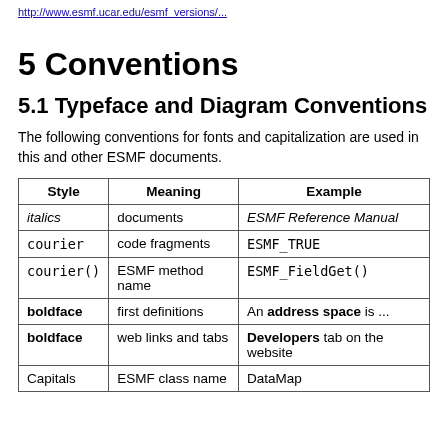http://www.esmf.ucar.edu/...
5 Conventions
5.1 Typeface and Diagram Conventions
The following conventions for fonts and capitalization are used in this and other ESMF documents.
| Style | Meaning | Example |
| --- | --- | --- |
| italics | documents | ESMF Reference Manual |
| courier | code fragments | ESMF_TRUE |
| courier() | ESMF method name | ESMF_FieldGet() |
| boldface | first definitions | An address space is ... |
| boldface | web links and tabs | Developers tab on the website |
| Capitals | ESMF class name | DataMap |